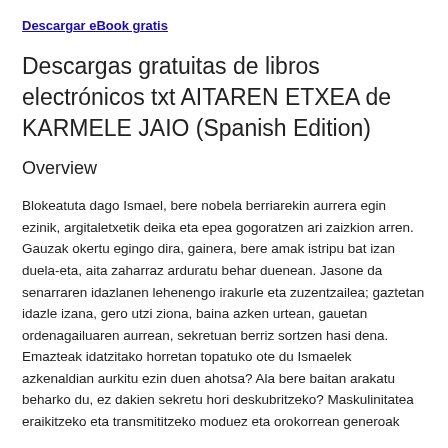Descargar eBook gratis
Descargas gratuitas de libros electrónicos txt AITAREN ETXEA de KARMELE JAIO (Spanish Edition)
Overview
Blokeatuta dago Ismael, bere nobela berriarekin aurrera egin ezinik, argitaletxetik deika eta epea gogoratzen ari zaizkion arren. Gauzak okertu egingo dira, gainera, bere amak istripu bat izan duela-eta, aita zaharraz arduratu behar duenean. Jasone da senarraren idazlanen lehenengo irakurle eta zuzentzailea; gaztetan idazle izana, gero utzi ziona, baina azken urtean, gauetan ordenagailuaren aurrean, sekretuan berriz sortzen hasi dena. Emazteak idatzitako horretan topatuko ote du Ismaelek azkenaldian aurkitu ezin duen ahotsa? Ala bere baitan arakatu beharko du, ez dakien sekretu hori deskubritzeko? Maskulinitatea eraikitzeko eta transmititzeko moduez eta orokorrean generoak